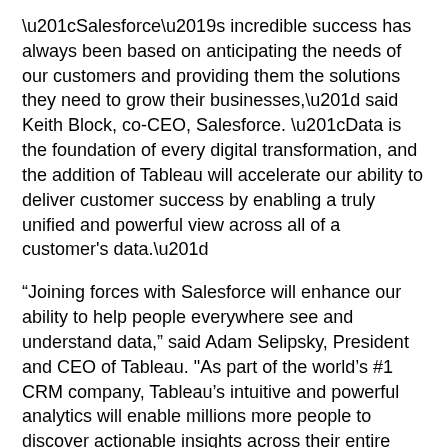“Salesforce’s incredible success has always been based on anticipating the needs of our customers and providing them the solutions they need to grow their businesses,” said Keith Block, co-CEO, Salesforce. “Data is the foundation of every digital transformation, and the addition of Tableau will accelerate our ability to deliver customer success by enabling a truly unified and powerful view across all of a customer's data.”
“Joining forces with Salesforce will enhance our ability to help people everywhere see and understand data,” said Adam Selipsky, President and CEO of Tableau. "As part of the world’s #1 CRM company, Tableau’s intuitive and powerful analytics will enable millions more people to discover actionable insights across their entire organizations. I’m delighted that our companies share very similar cultures and a relentless focus on customer success. I look forward to working together in support of our customers and communities."
Combination to Supercharge Digital Transformation